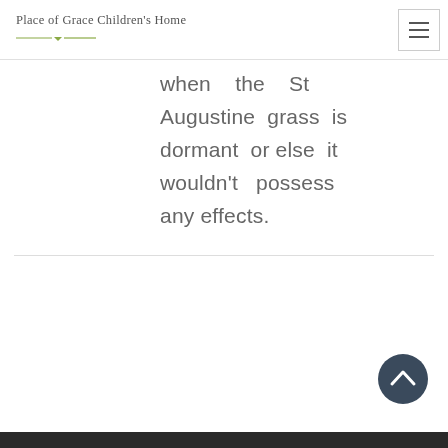Place of Grace Children's Home
when the St Augustine grass is dormant or else it wouldn't possess any effects.